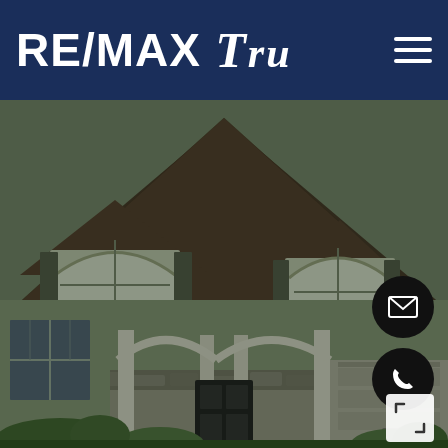RE/MAX Tru
[Figure (photo): Exterior photo of a two-story craftsman-style home with dark brown shingled roof, dormers with arched windows, green-gray siding, front porch with arched columns, stone accents, attached garage, and landscaping in the foreground.]
[Figure (other): Circular black floating action button with white email/envelope icon]
[Figure (other): Circular black floating action button with white phone/handset icon]
[Figure (other): White square expand/fullscreen button icon]